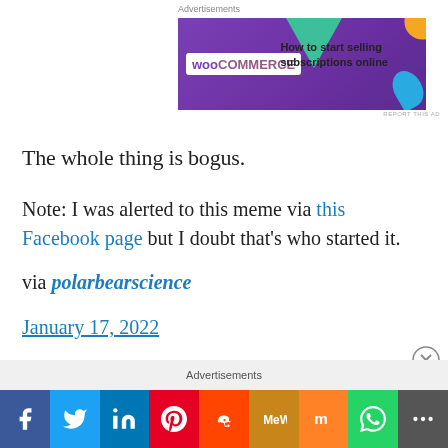Advertisements
[Figure (illustration): WooCommerce advertisement banner: purple background with WooCommerce logo, green arrow shape, text 'How to start selling subscriptions online', orange circle and blue leaf decorations]
The whole thing is bogus.
Note: I was alerted to this meme via this Facebook page but I doubt that's who started it.
via polarbearscience
January 17, 2022
Advertisements
[Figure (infographic): Social media share bar with buttons: Facebook (blue), Twitter (light blue), LinkedIn (dark blue), Pinterest (red), Reddit (orange-red), MeWe (orange), Mix (orange), WhatsApp (green), More (gray)]